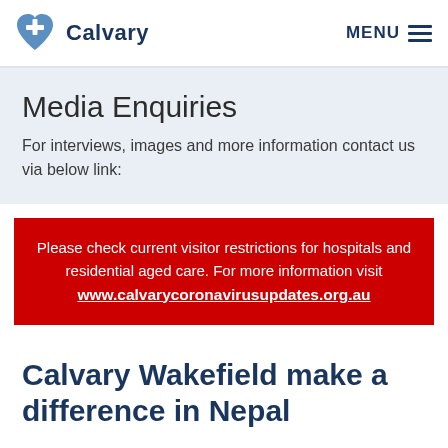Calvary  MENU
Media Enquiries
For interviews, images and more information contact us via below link:
Please check current visitor restrictions for hospitals and residential aged care. For more information visit www.calvarycoronavirusupdates.org.au
Calvary Wakefield make a difference in Nepal